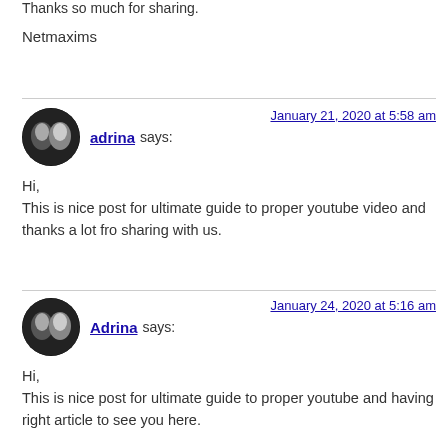Thanks so much for sharing.
Netmaxims
adrina says:
January 21, 2020 at 5:58 am

Hi,
This is nice post for ultimate guide to proper youtube video and thanks a lot fro sharing with us.
Adrina says:
January 24, 2020 at 5:16 am

Hi,
This is nice post for ultimate guide to proper youtube and having right article to see you here.